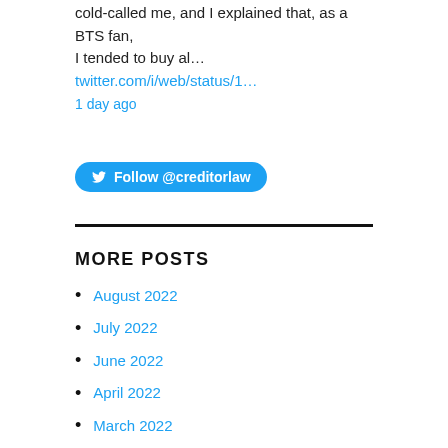cold-called me, and I explained that, as a BTS fan, I tended to buy al… twitter.com/i/web/status/1…
1 day ago
[Figure (other): Twitter Follow @creditorlaw button]
MORE POSTS
August 2022
July 2022
June 2022
April 2022
March 2022
January 2022
December 2021